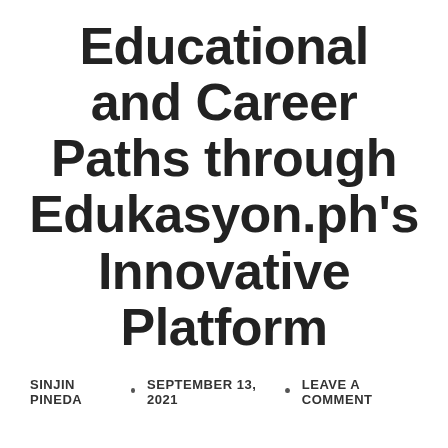Educational and Career Paths through Edukasyon.ph's Innovative Platform
SINJIN PINEDA · SEPTEMBER 13, 2021 · LEAVE A COMMENT